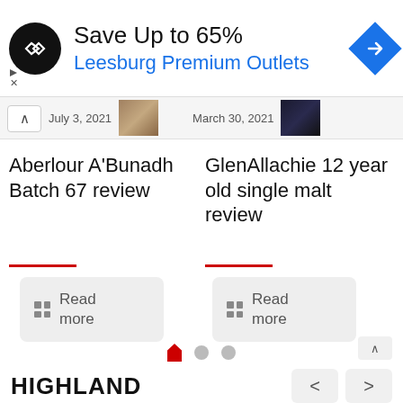[Figure (screenshot): Advertisement banner: circular black logo with double arrow symbol, 'Save Up to 65%' in large text, 'Leesburg Premium Outlets' in blue, blue diamond navigation arrow on right]
[Figure (screenshot): Date bar showing 'July 3, 2021' and 'March 30, 2021' with thumbnail images and up arrow navigation]
Aberlour A'Bunadh Batch 67 review
GlenAllachie 12 year old single malt review
Read more
Read more
[Figure (other): Pagination indicator: red house/home shaped active dot, two gray inactive dots]
HIGHLAND
[Figure (photo): Fettercairn whisky bottle/box bottom portion visible]
[Figure (photo): Edradour whisky bottle/box bottom portion visible]